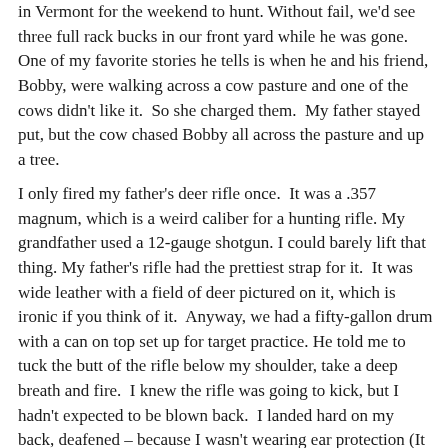in Vermont for the weekend to hunt. Without fail, we'd see three full rack bucks in our front yard while he was gone. One of my favorite stories he tells is when he and his friend, Bobby, were walking across a cow pasture and one of the cows didn't like it.  So she charged them.  My father stayed put, but the cow chased Bobby all across the pasture and up a tree.
I only fired my father's deer rifle once.  It was a .357 magnum, which is a weird caliber for a hunting rifle. My grandfather used a 12-gauge shotgun. I could barely lift that thing. My father's rifle had the prettiest strap for it.  It was wide leather with a field of deer pictured on it, which is ironic if you think of it.  Anyway, we had a fifty-gallon drum with a can on top set up for target practice. He told me to tuck the butt of the rifle below my shoulder, take a deep breath and fire.  I knew the rifle was going to kick, but I hadn't expected to be blown back.  I landed hard on my back, deafened – because I wasn't wearing ear protection (It was the 80's), with my finger still on the trigger, the rifle still tucked in my shoulder, but facing to the sky. You wouldn't believe the look in the barn owner's t...